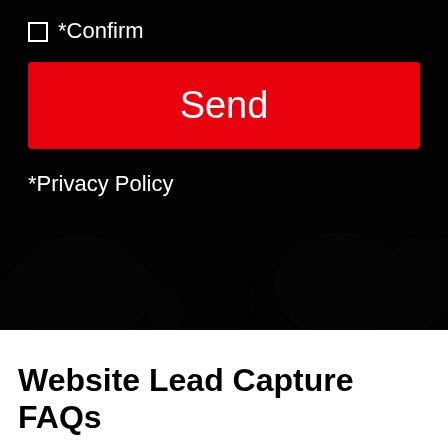[Figure (screenshot): Dark-themed web form UI showing a checkbox labeled '*Confirm', a red 'Send' button, and '*Privacy Policy' text on a dark background with faint dark bokeh background image.]
Website Lead Capture FAQs